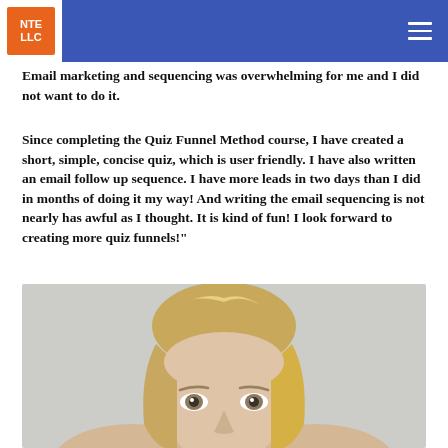NTE LLC
Email marketing and sequencing was overwhelming for me and I did not want to do it.
Since completing the Quiz Funnel Method course, I have created a short, simple, concise quiz, which is user friendly. I have also written an email follow up sequence. I have more leads in two days than I did in months of doing it my way! And writing the email sequencing is not nearly has awful as I thought. It is kind of fun! I look forward to creating more quiz funnels!"
[Figure (photo): Headshot photo of a blonde woman against a light gray background, cropped to show her face and top of shoulders, looking directly at camera.]